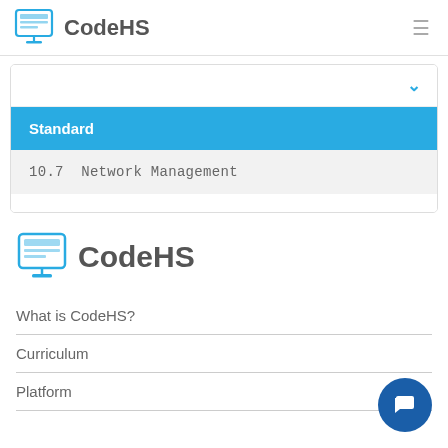CodeHS
Standard
10.7  Network Management
[Figure (logo): CodeHS logo with monitor icon and text]
What is CodeHS?
Curriculum
Platform